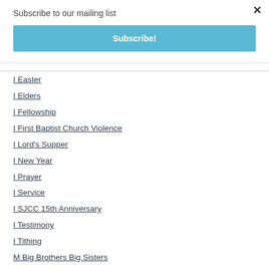Subscribe to our mailing list
Subscribe!
I Easter
I Elders
I Fellowship
I First Baptist Church Violence
I Lord's Supper
I New Year
I Prayer
I Service
I SJCC 15th Anniversary
I Testimony
I Tithing
M Big Brothers Big Sisters
M New Mercies Ministries
M SJCC Children's Ministr…